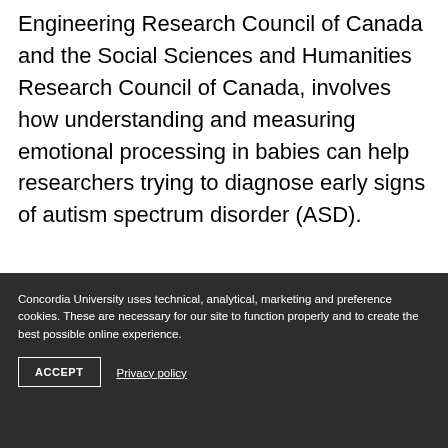funded by the Natural Sciences and Engineering Research Council of Canada and the Social Sciences and Humanities Research Council of Canada, involves how understanding and measuring emotional processing in babies can help researchers trying to diagnose early signs of autism spectrum disorder (ASD).
Concordia University uses technical, analytical, marketing and preference cookies. These are necessary for our site to function properly and to create the best possible online experience.
ACCEPT
Privacy policy